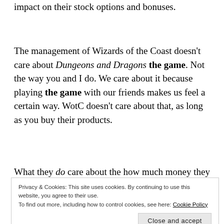impact on their stock options and bonuses.
The management of Wizards of the Coast doesn't care about Dungeons and Dragons the game. Not the way you and I do. We care about it because playing the game with our friends makes us feel a certain way. WotC doesn't care about that, as long as you buy their products.
What they do care about the how much money they can
Privacy & Cookies: This site uses cookies. By continuing to use this website, you agree to their use. To find out more, including how to control cookies, see here: Cookie Policy
and how it contributes to their profit.